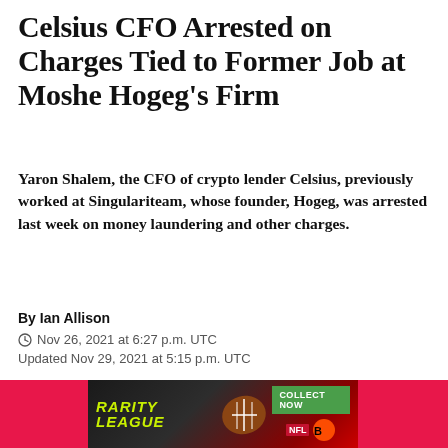Celsius CFO Arrested on Charges Tied to Former Job at Moshe Hogeg's Firm
Yaron Shalem, the CFO of crypto lender Celsius, previously worked at Singulariteam, whose founder, Hogeg, was arrested last week on money laundering and other charges.
By Ian Allison
Nov 26, 2021 at 6:27 p.m. UTC
Updated Nov 29, 2021 at 5:15 p.m. UTC
[Figure (other): Social media share icons: Facebook, LinkedIn, Twitter, Email]
[Figure (other): Rarity League advertisement banner with NFL branding and Collect Now CTA]